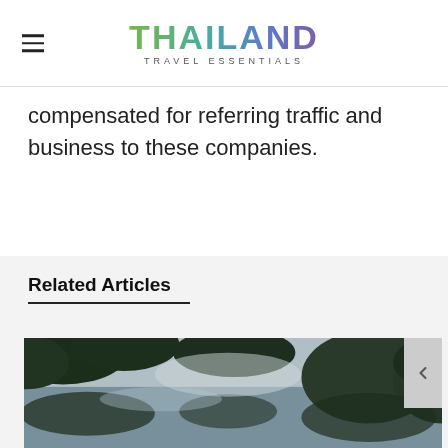THAILAND TRAVEL ESSENTIALS
compensated for referring traffic and business to these companies.
Related Articles
[Figure (photo): Outdoor nature photo showing dark green trees, foliage, rocky cliffs and sky reflected in water below]